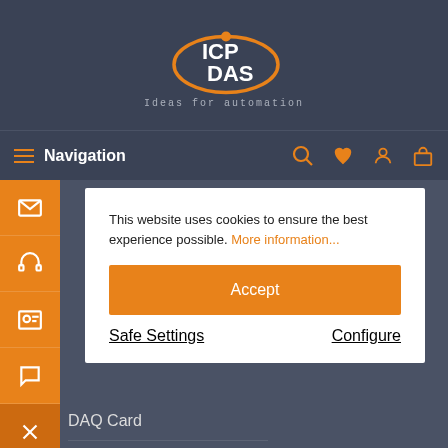[Figure (logo): ICP DAS logo with orange swoosh graphic and white text ICP DAS above tagline Ideas for automation]
Navigation
This website uses cookies to ensure the best experience possible. More information...
Accept
Safe Settings
Configure
DAQ Card
Smart Energy
Industrial HMI
Automation Controller